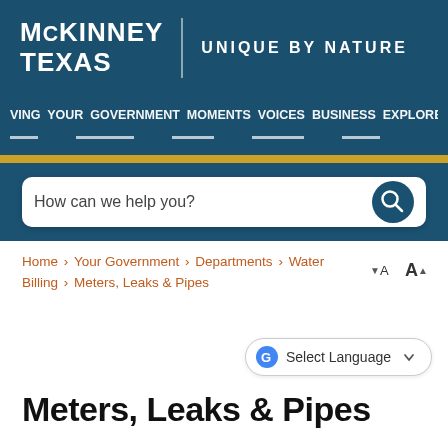[Figure (screenshot): McKinney Texas city government website header with logo, navigation bar, search box, breadcrumb, language selector, and page title 'Meters, Leaks & Pipes']
McKINNEY TEXAS | UNIQUE BY NATURE
LIVING YOUR GOVERNMENT MOMENTS VOICES BUSINESS EXPLORE MCKINNEY
How can we help you?
Home › Your Government › Departments › Water Billing › Meters, Leaks & Pipes
Meters, Leaks & Pipes